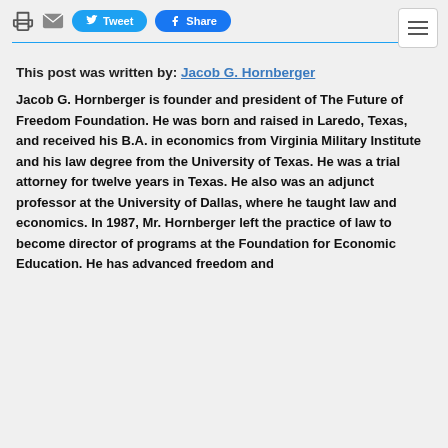Print | Email | Tweet | Share | Menu
This post was written by: Jacob G. Hornberger
Jacob G. Hornberger is founder and president of The Future of Freedom Foundation. He was born and raised in Laredo, Texas, and received his B.A. in economics from Virginia Military Institute and his law degree from the University of Texas. He was a trial attorney for twelve years in Texas. He also was an adjunct professor at the University of Dallas, where he taught law and economics. In 1987, Mr. Hornberger left the practice of law to become director of programs at the Foundation for Economic Education. He has advanced freedom and